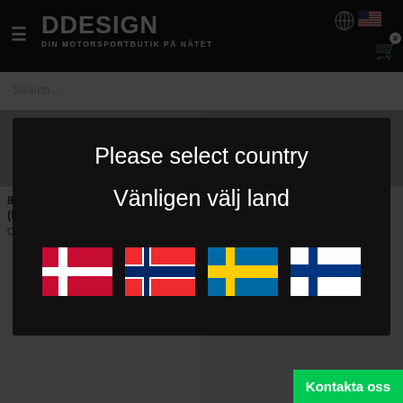DDESIGN - DIN MOTORSPORTBUTIK PÅ NÄTET
[Figure (screenshot): Country selection modal overlay on DDesign motorsport webshop. Modal shows 'Please select country / Vänligen välj land' with four flags: Denmark, Norway, Sweden, Finland. Background shows the webshop header with logo and product listings.]
Please select country
Vänligen välj land
80, 90 (89Q) Sedan / Coupé 4WD (M14-bult i ne
Our engineers have developed a sporty
80, 90 (89Q) Sedan / Coupé 4WD (M14-bult i ne
Our engineers
Kontakta oss